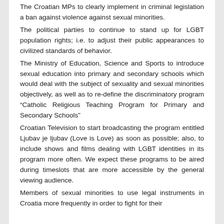The Croatian MPs to clearly implement in criminal legislation a ban against violence against sexual minorities.
The political parties to continue to stand up for LGBT population rights; i.e. to adjust their public appearances to civilized standards of behavior.
The Ministry of Education, Science and Sports to introduce sexual education into primary and secondary schools which would deal with the subject of sexuality and sexual minorities objectively, as well as to re-define the discriminatory program “Catholic Religious Teaching Program for Primary and Secondary Schools”
Croatian Television to start broadcasting the program entitled Ljubav je ljubav (Love is Love) as soon as possible; also, to include shows and films dealing with LGBT identities in its program more often. We expect these programs to be aired during timeslots that are more accessible by the general viewing audience.
Members of sexual minorities to use legal instruments in Croatia more frequently in order to fight for their